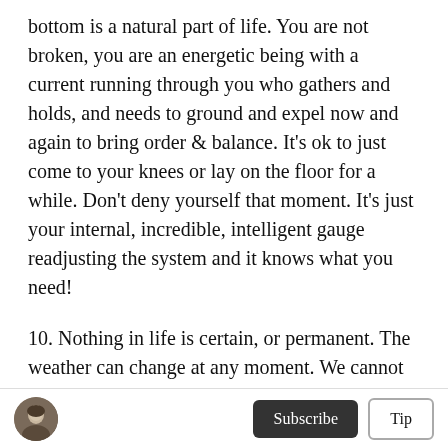bottom is a natural part of life. You are not broken, you are an energetic being with a current running through you who gathers and holds, and needs to ground and expel now and again to bring order & balance. It's ok to just come to your knees or lay on the floor for a while. Don't deny yourself that moment. It's just your internal, incredible, intelligent gauge readjusting the system and it knows what you need!
10. Nothing in life is certain, or permanent. The weather can change at any moment. We cannot control external events. But we can choose how we
[Figure (photo): Small circular avatar showing a person, likely female, in a dark/vintage style photo]
Subscribe
Tip